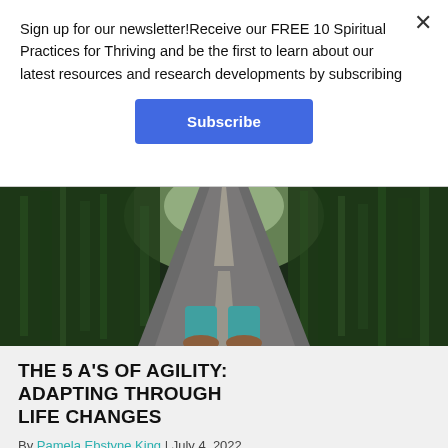Sign up for our newsletter!Receive our FREE 10 Spiritual Practices for Thriving and be the first to learn about our latest resources and research developments by subscribing
Subscribe
[Figure (photo): First-person perspective photo of person standing on a road flanked by trees with motion blur effect suggesting speed or movement, with teal pants and brown shoes visible in foreground]
THE 5 A'S OF AGILITY: ADAPTING THROUGH LIFE CHANGES
By Pamela Ebstyne King | July 4, 2022